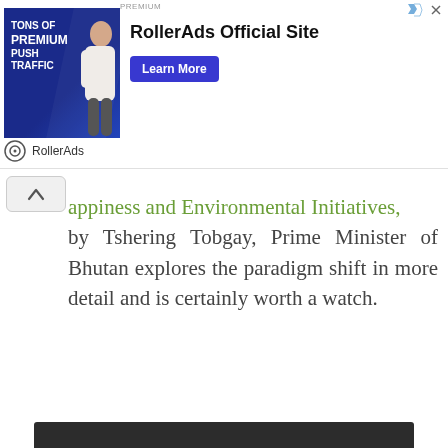[Figure (other): RollerAds advertisement banner with image of woman and 'TONS OF PREMIUM PUSH TRAFFIC' text. RollerAds Official Site with Learn More button.]
appiness and Environmental Initiatives, by Tshering Tobgay, Prime Minister of Bhutan explores the paradigm shift in more detail and is certainly worth a watch.
[Figure (screenshot): Embedded video player showing 'Video unavailable - This video is unavailable' message on dark background.]